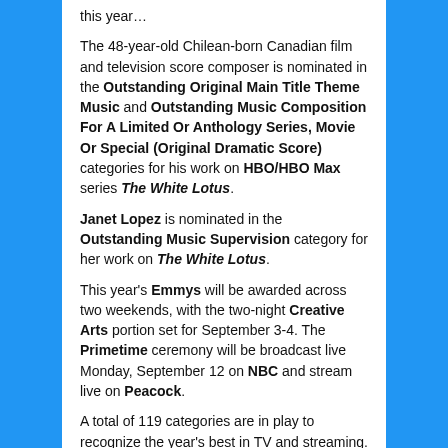this year…
The 48-year-old Chilean-born Canadian film and television score composer is nominated in the Outstanding Original Main Title Theme Music and Outstanding Music Composition For A Limited Or Anthology Series, Movie Or Special (Original Dramatic Score) categories for his work on HBO/HBO Max series The White Lotus.
Janet Lopez is nominated in the Outstanding Music Supervision category for her work on The White Lotus.
This year's Emmys will be awarded across two weekends, with the two-night Creative Arts portion set for September 3-4. The Primetime ceremony will be broadcast live Monday, September 12 on NBC and stream live on Peacock.
A total of 119 categories are in play to recognize the year's best in TV and streaming.